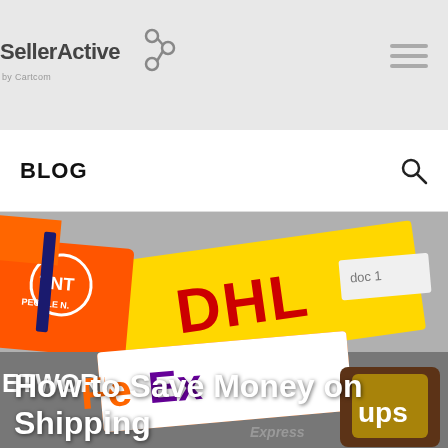SellerActive
BLOG
[Figure (photo): A photo collage of shipping carrier logos including TNT, DHL (yellow and red), FedEx, and UPS on parcels and envelopes]
How to Save Money on Shipping